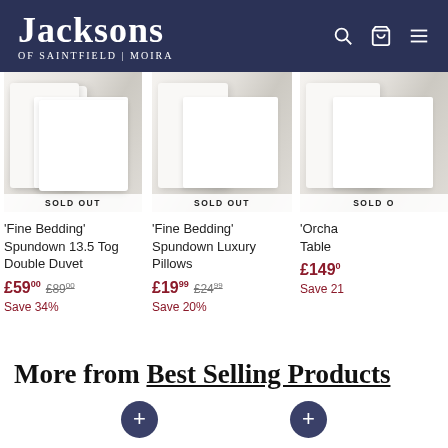Jacksons OF SAINTFIELD | MOIRA
[Figure (photo): White bed linen/duvet product image with SOLD OUT banner]
'Fine Bedding' Spundown 13.5 Tog Double Duvet
£59.00  £89.00
Save 34%
[Figure (photo): White bed linen/pillows product image with SOLD OUT banner]
'Fine Bedding' Spundown Luxury Pillows
£19.99  £24.99
Save 20%
[Figure (photo): Partial product image with SOLD OUT banner (cropped)]
'Orcha... Table
£149.00
Save 21...
More from Best Selling Products